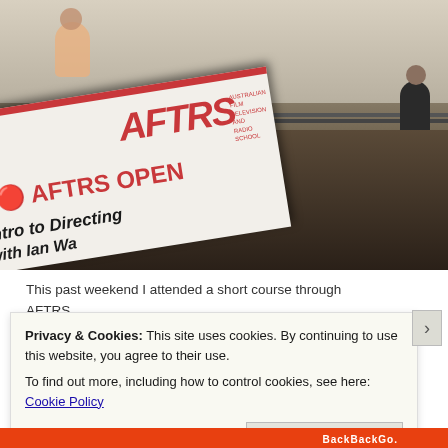[Figure (photo): A workshop room scene with people seated at tables in the background and an AFTRS Open brochure/folder in the foreground on a dark table surface. The brochure shows 'AFTRS OPEN' in red text and 'Intro to Directing with Ian Wa...' in dark italic text. The AFTRS logo is visible in red.]
This past weekend I attended a short course through AFTRS
Privacy & Cookies: This site uses cookies. By continuing to use this website, you agree to their use.
To find out more, including how to control cookies, see here: Cookie Policy
Close and accept